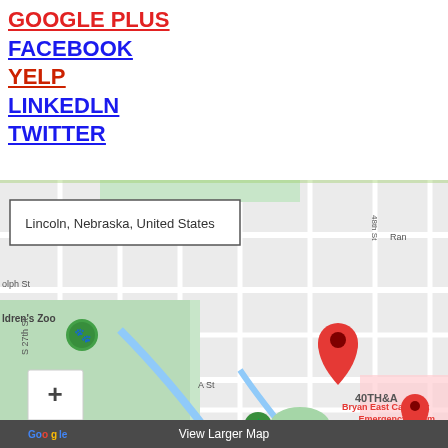GOOGLE PLUS
FACEBOOK
YELP
LINKEDLN
TWITTER
[Figure (map): Google Maps showing Lincoln, Nebraska, United States with a red location pin at 40TH&A area. The map shows surrounding streets including S 27th St, A St, 48th St, and landmarks including Children's Zoo, Hope Park, and Bryan East Campus Emergency Room. Includes zoom controls and a View Larger Map bar at the bottom.]